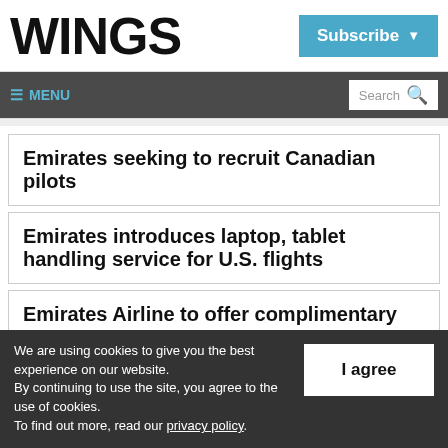WINGS
Subscribe
≡ MENU
Search
Emirates seeking to recruit Canadian pilots
Emirates introduces laptop, tablet handling service for U.S. flights
Emirates Airline to offer complimentary
We are using cookies to give you the best experience on our website.
By continuing to use the site, you agree to the use of cookies.
To find out more, read our privacy policy.
I agree